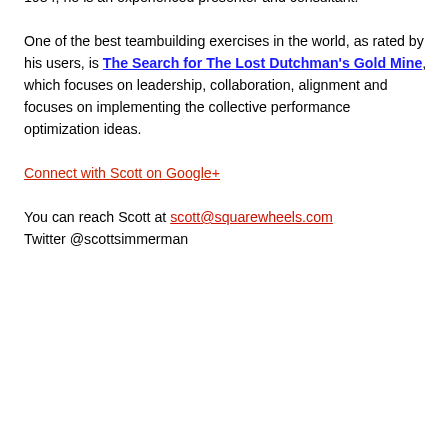team building games and organization improvement tools. Managing Partner of Performance Management Company since 1984, he is an experienced presenter and consultant.
One of the best teambuilding exercises in the world, as rated by his users, is The Search for The Lost Dutchman's Gold Mine, which focuses on leadership, collaboration, alignment and focuses on implementing the collective performance optimization ideas.
Connect with Scott on Google+
You can reach Scott at scott@squarewheels.com
Twitter @scottsimmerman